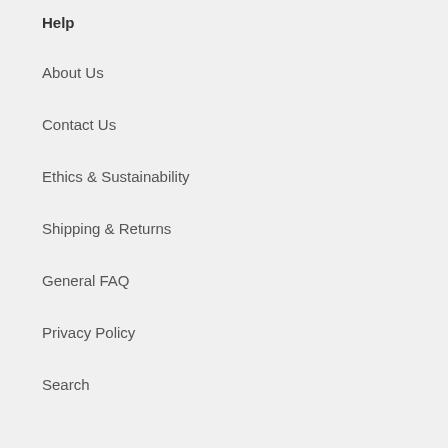Help
About Us
Contact Us
Ethics & Sustainability
Shipping & Returns
General FAQ
Privacy Policy
Search